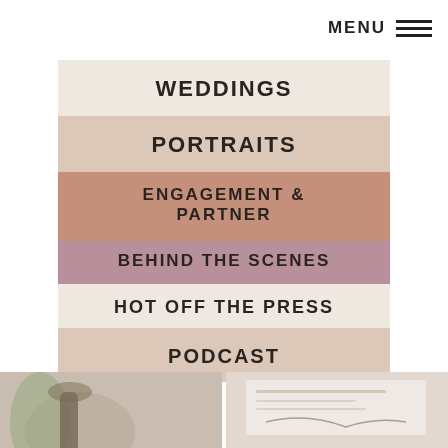MENU
WEDDINGS
PORTRAITS
ENGAGEMENT & PARTNER
BEHIND THE SCENES
HOT OFF THE PRESS
PODCAST
[Figure (photo): Two photos partially visible at the bottom of the page: left shows hands/greenery, right shows paper/stationery with cursive text]
[Figure (photo): Right bottom photo showing wedding stationery with script text]